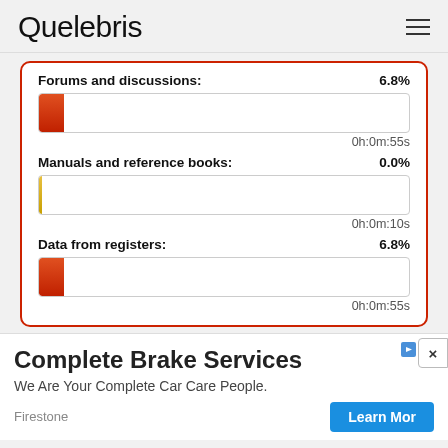Quelebris
[Figure (infographic): A card with red border showing three progress bars: Forums and discussions 6.8% (0h:0m:55s), Manuals and reference books 0.0% (0h:0m:10s), Data from registers 6.8% (0h:0m:55s)]
Forums and discussions: 6.8%
0h:0m:55s
Manuals and reference books: 0.0%
0h:0m:10s
Data from registers: 6.8%
0h:0m:55s
Complete Brake Services
We Are Your Complete Car Care People.
Firestone
Learn Mor